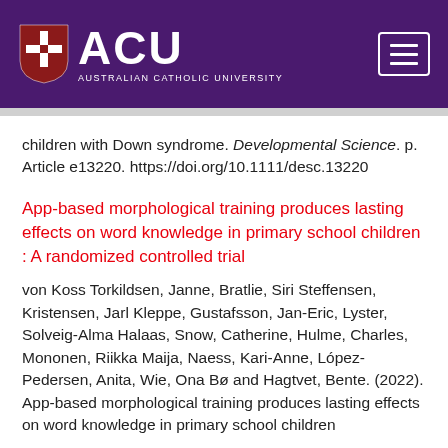[Figure (logo): Australian Catholic University (ACU) logo with shield and text on purple background with hamburger menu button]
children with Down syndrome. Developmental Science. p. Article e13220. https://doi.org/10.1111/desc.13220
App-based morphological training produces lasting effects on word knowledge in primary school children : A randomized controlled trial
von Koss Torkildsen, Janne, Bratlie, Siri Steffensen, Kristensen, Jarl Kleppe, Gustafsson, Jan-Eric, Lyster, Solveig-Alma Halaas, Snow, Catherine, Hulme, Charles, Mononen, Riikka Maija, Naess, Kari-Anne, López-Pedersen, Anita, Wie, Ona Bø and Hagtvet, Bente. (2022). App-based morphological training produces lasting effects on word knowledge in primary school children